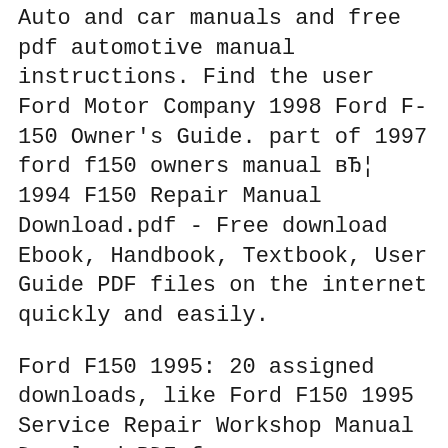Auto and car manuals and free pdf automotive manual instructions. Find the user Ford Motor Company 1998 Ford F-150 Owner's Guide. part of 1997 ford f150 owners manual вЂ¦ 1994 F150 Repair Manual Download.pdf - Free download Ebook, Handbook, Textbook, User Guide PDF files on the internet quickly and easily.
Ford F150 1995: 20 assigned downloads, like Ford F150 1995 Service Repair Workshop Manual Download PDF from superbuyer1971 All free free to find, read and download. 01 ford f150 owners manual PDF may not make exciting reading, but 01 ford f150 owners manual is packed with valuable